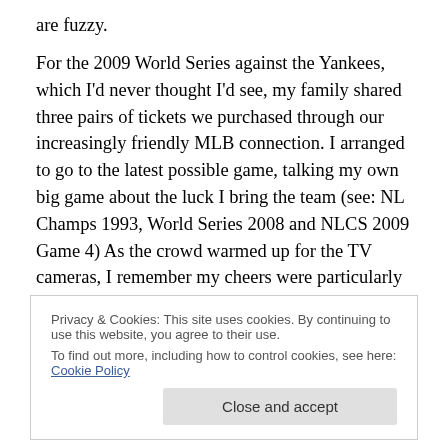are fuzzy.
For the 2009 World Series against the Yankees, which I'd never thought I'd see, my family shared three pairs of tickets we purchased through our increasingly friendly MLB connection. I arranged to go to the latest possible game, talking my own big game about the luck I bring the team (see: NL Champs 1993, World Series 2008 and NLCS 2009 Game 4) As the crowd warmed up for the TV cameras, I remember my cheers were particularly emotional. I wanted the win on this night as much as I
Privacy & Cookies: This site uses cookies. By continuing to use this website, you agree to their use.
To find out more, including how to control cookies, see here: Cookie Policy
Cliff Lee, the real good luck charm who gets paid to be an